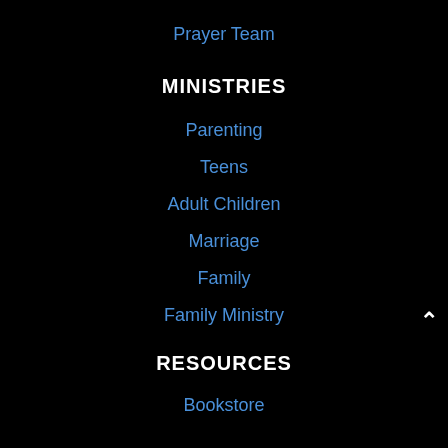Prayer Team
MINISTRIES
Parenting
Teens
Adult Children
Marriage
Family
Family Ministry
RESOURCES
Bookstore